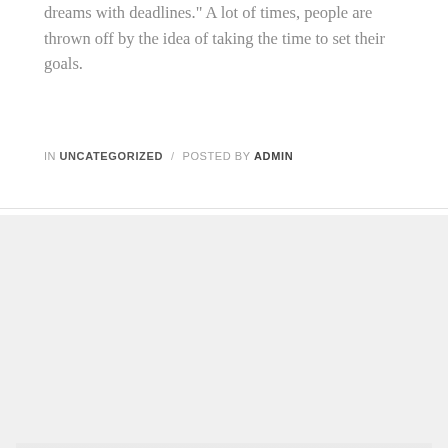dreams with deadlines." A lot of times, people are thrown off by the idea of taking the time to set their goals.
IN UNCATEGORIZED / POSTED BY ADMIN
[Figure (other): Gray placeholder card image with MaisonCo watermark text in center, with a gradient overlay at the bottom showing date DECEMBER 2, 2018]